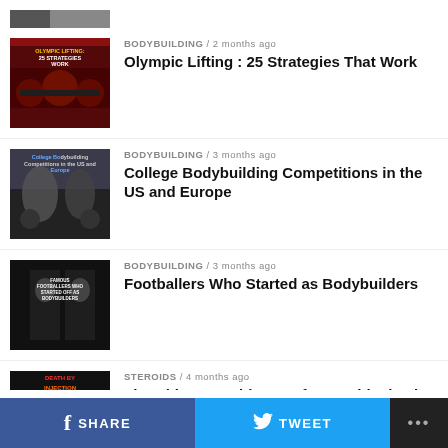[Figure (photo): Partial thumbnail image at top, cropped]
BODYBUILDING / 2 months ago
Olympic Lifting : 25 Strategies That Work
BODYBUILDING / 3 months ago
College Bodybuilding Competitions in the US and Europe
BODYBUILDING / 3 months ago
Footballers Who Started as Bodybuilders
STEROIDS / 4 months ago
The Ultimate Guide to Safe Steroid Injection
BODYBUILDING / 4 months ago (partial)
SHARE   TWEET   ...